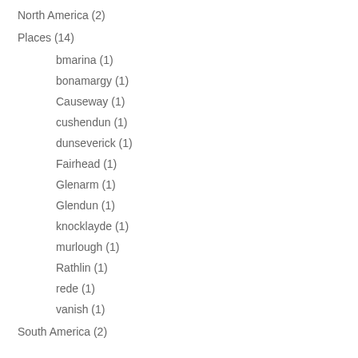North America (2)
Places (14)
bmarina (1)
bonamargy (1)
Causeway (1)
cushendun (1)
dunseverick (1)
Fairhead (1)
Glenarm (1)
Glendun (1)
knocklayde (1)
murlough (1)
Rathlin (1)
rede (1)
vanish (1)
South America (2)